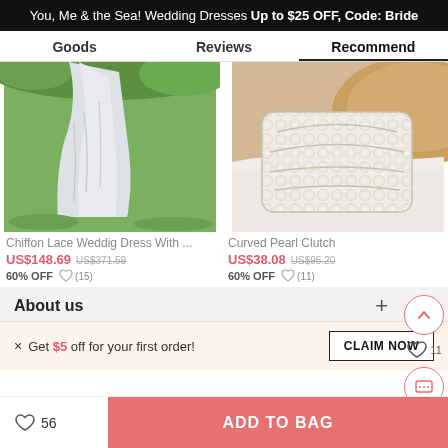You, Me & the Sea! Wedding Dresses Up to $25 OFF, Code: Bride
Goods   Reviews   Recommend
[Figure (photo): Photo of a chiffon lace wedding dress lower half on grass]
[Figure (photo): Photo of a curved pearl clutch bag on white fabric]
Chiffon Lace Weddig Dress With ...
US$148.69  US$371.59
60% OFF  ♡ (15)
Curved Pearl Clutch
US$38.08  US$95.20
60% OFF  ♡ (11)
About us
× Get $5 off for your first order!
CLAIM NOW
56   ADD TO BAG